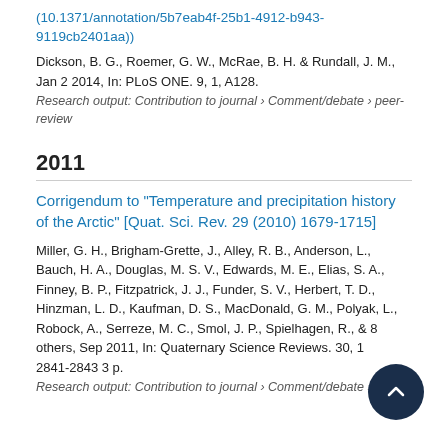(10.1371/annotation/5b7eab4f-25b1-4912-b943-9119cb2401aa))
Dickson, B. G., Roemer, G. W., McRae, B. H. & Rundall, J. M., Jan 2 2014, In: PLoS ONE. 9, 1, A128.
Research output: Contribution to journal › Comment/debate › peer-review
2011
Corrigendum to "Temperature and precipitation history of the Arctic" [Quat. Sci. Rev. 29 (2010) 1679-1715]
Miller, G. H., Brigham-Grette, J., Alley, R. B., Anderson, L., Bauch, H. A., Douglas, M. S. V., Edwards, M. E., Elias, S. A., Finney, B. P., Fitzpatrick, J. J., Funder, S. V., Herbert, T. D., Hinzman, L. D., Kaufman, D. S., MacDonald, G. M., Polyak, L., Robock, A., Serreze, M. C., Smol, J. P., Spielhagen, R., & 8 others, Sep 2011, In: Quaternary Science Reviews. 30, 19-20, p. 2841-2843 3 p.
Research output: Contribution to journal › Comment/debate › peer-